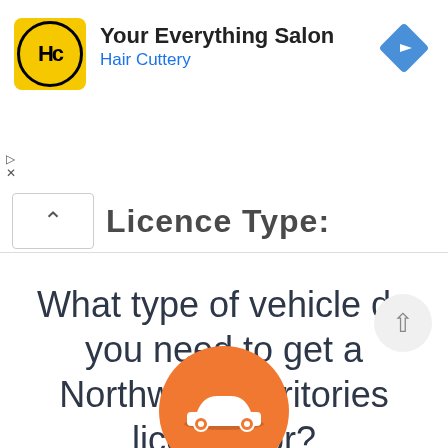[Figure (screenshot): Advertisement banner for Hair Cuttery salon with yellow logo, navigation arrow icon, and small ad control icons]
Licence Type:
What type of vehicle do you need to get a Northwest Territories licence for?
[Figure (illustration): Orange circle with white car silhouette icon, partially visible at bottom of page]